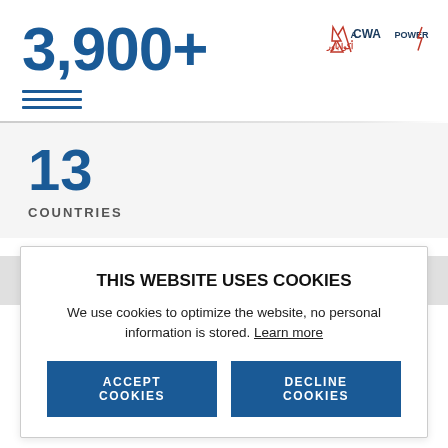3,900+
[Figure (logo): ACWA Power logo with Arabic text and mountain/lightning bolt symbol in red and dark blue]
13
COUNTRIES
SHARE THIS RELEASE
THIS WEBSITE USES COOKIES
We use cookies to optimize the website, no personal information is stored. Learn more
ACCEPT COOKIES
DECLINE COOKIES